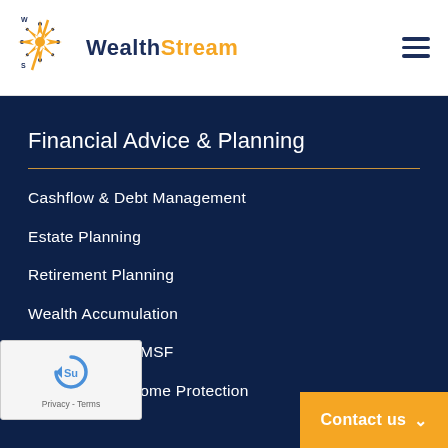[Figure (logo): WealthStream logo with compass star icon in orange and navy blue. Text 'Wealth' in navy and 'Stream' in orange.]
Financial Advice & Planning
Cashflow & Debt Management
Estate Planning
Retirement Planning
Wealth Accumulation
nnuation & SMSF
Insurance & Income Protection